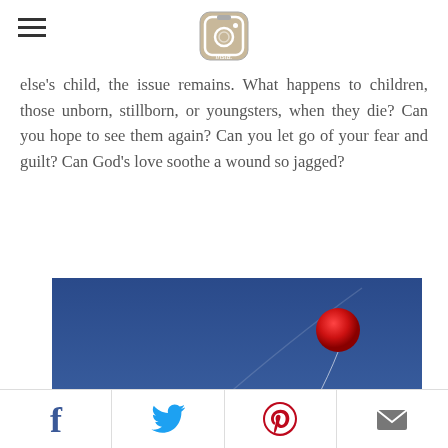[hamburger menu] [Instagram logo]
else's child, the issue remains. What happens to children, those unborn, stillborn, or youngsters, when they die? Can you hope to see them again? Can you let go of your fear and guilt? Can God's love soothe a wound so jagged?
[Figure (photo): A red balloon floating in a blue sky with a string trailing below it.]
Facebook | Twitter | Pinterest | Email